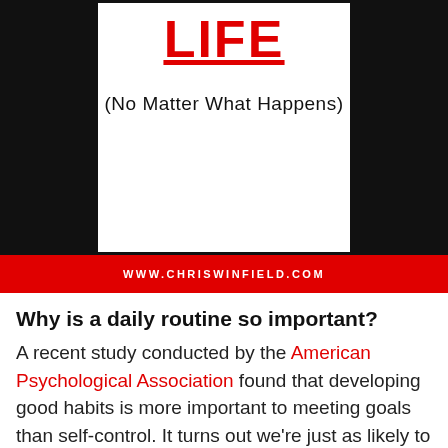[Figure (illustration): Book cover showing the word LIFE in large red underlined text, with subtitle (No Matter What Happens) on a white panel with black border, set against a black background]
WWW.CHRISWINFIELD.COM
Why is a daily routine so important?
A recent study conducted by the American Psychological Association found that developing good habits is more important to meeting goals than self-control. It turns out we're just as likely to default to positive habits,